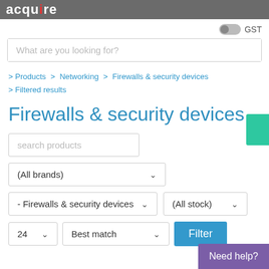acquire
GST toggle
What are you looking for?
> Products > Networking > Firewalls & security devices
> Filtered results
Firewalls & security devices
search products
(All brands)
- Firewalls & security devices
(All stock)
24
Best match
Filter
Need help?